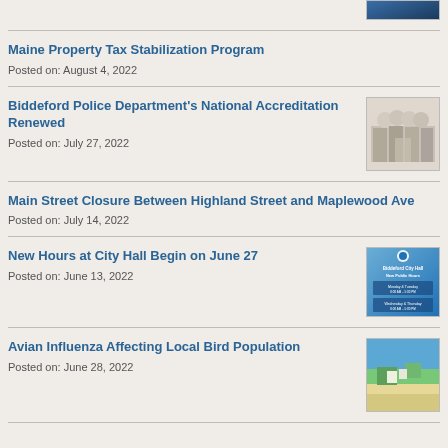[Figure (photo): Partial thumbnail at top of page, dark blue image]
Maine Property Tax Stabilization Program
Posted on: August 4, 2022
Biddeford Police Department's National Accreditation Renewed
Posted on: July 27, 2022
[Figure (photo): Group of people at a ceremony, police accreditation]
Main Street Closure Between Highland Street and Maplewood Ave
Posted on: July 14, 2022
New Hours at City Hall Begin on June 27
Posted on: June 13, 2022
[Figure (screenshot): Biddeford City Hall New Public Hours announcement graphic]
Avian Influenza Affecting Local Bird Population
Posted on: June 28, 2022
[Figure (photo): Aerial view of coastal landscape with beach and green area]